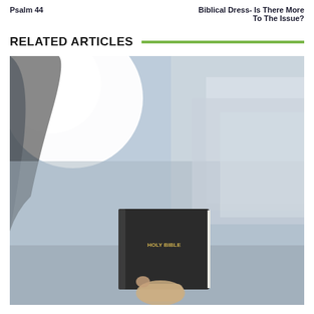Psalm 44
Biblical Dress- Is There More To The Issue?
RELATED ARTICLES
[Figure (photo): A person holding up a Holy Bible book, photographed from below against a blurred background with bright light and building shapes visible. The book is black with gold text reading HOLY BIBLE.]